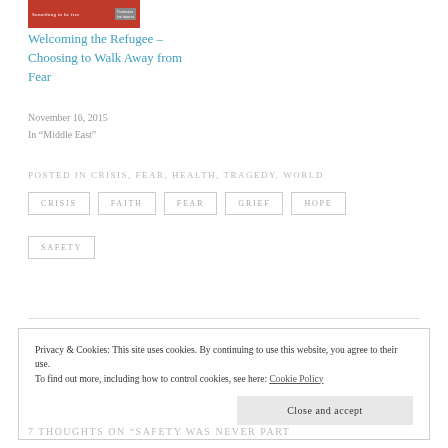[Figure (illustration): Red thumbnail image of a blog post with white text on left and a grey badge on right]
Welcoming the Refugee – Choosing to Walk Away from Fear
November 16, 2015
In “Middle East”
POSTED IN CRISIS, FEAR, HEALTH, TRAGEDY, WORLD
CRISIS
FAITH
FEAR
GRIEF
HOPE
SAFETY
Privacy & Cookies: This site uses cookies. By continuing to use this website, you agree to their use.
To find out more, including how to control cookies, see here: Cookie Policy
Close and accept
7 THOUGHTS ON “SAFETY WAS NEVER PART